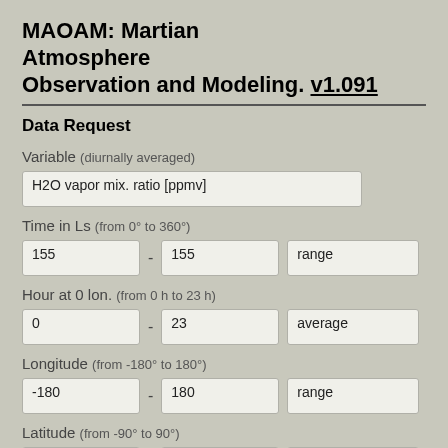MAOAM: Martian Atmosphere Observation and Modeling. v1.091
Data Request
Variable (diurnally averaged)
H2O vapor mix. ratio [ppmv]
Time in Ls (from 0° to 360°)
155 - 155   range
Hour at 0 lon. (from 0 h to 23 h)
0 - 23   average
Longitude (from -180° to 180°)
-180 - 180   range
Latitude (from -90° to 90°)
-90 - 90   range